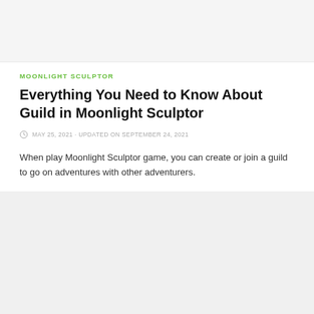[Figure (other): Top banner image placeholder with light gray background]
MOONLIGHT SCULPTOR
Everything You Need to Know About Guild in Moonlight Sculptor
MAY 25, 2021 · UPDATED ON SEPTEMBER 24, 2021
When play Moonlight Sculptor game, you can create or join a guild to go on adventures with other adventurers.
[Figure (other): Bottom content image placeholder with light gray background]